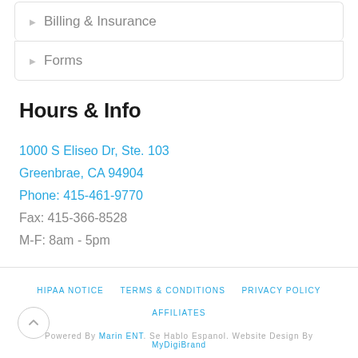▶ Billing & Insurance
▶ Forms
Hours & Info
1000 S Eliseo Dr, Ste. 103
Greenbrae, CA 94904
Phone: 415-461-9770
Fax: 415-366-8528
M-F: 8am - 5pm
HIPAA NOTICE   TERMS & CONDITIONS   PRIVACY POLICY   AFFILIATES
Powered By Marin ENT. Se Hablo Espanol. Website Design By MyDigiBrand